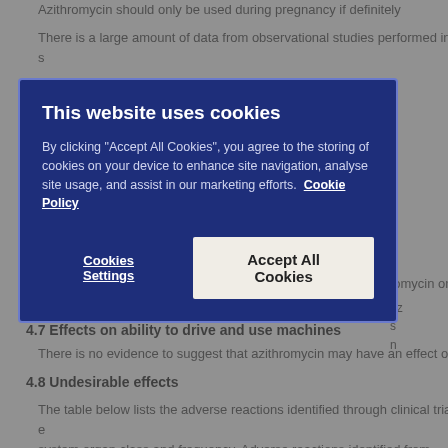Azithromycin should only be used during pregnancy if definitely indicated.
There is a large amount of data from observational studies performed in s... during pregnancy compared to no antibiotic use or use of another antibio...
[Figure (screenshot): Cookie consent modal dialog with dark blue background. Title: 'This website uses cookies'. Body text: 'By clicking "Accept All Cookies", you agree to the storing of cookies on your device to enhance site navigation, analyse site usage, and assist in our marketing efforts. Cookie Policy'. Two buttons: 'Cookies Settings' and 'Accept All Cookies'.]
Fertility
Animal data do not suggest an effect of the treatment of azithromycin on m... lacking.
4.7 Effects on ability to drive and use machines
There is no evidence to suggest that azithromycin may have an effect on a...
4.8 Undesirable effects
The table below lists the adverse reactions identified through clinical trial e... system organ class and frequency. Adverse reactions identified from post-... The frequency grouping is defined using the following convention: Ver...